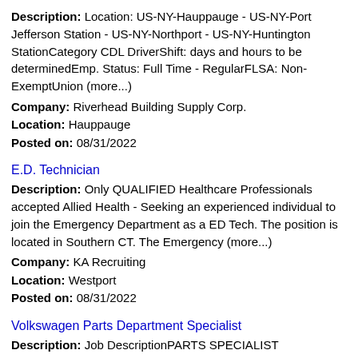Description: Location: US-NY-Hauppauge - US-NY-Port Jefferson Station - US-NY-Northport - US-NY-Huntington StationCategory CDL DriverShift: days and hours to be determinedEmp. Status: Full Time - RegularFLSA: Non-ExemptUnion (more...)
Company: Riverhead Building Supply Corp.
Location: Hauppauge
Posted on: 08/31/2022
E.D. Technician
Description: Only QUALIFIED Healthcare Professionals accepted Allied Health - Seeking an experienced individual to join the Emergency Department as a ED Tech. The position is located in Southern CT. The Emergency (more...)
Company: KA Recruiting
Location: Westport
Posted on: 08/31/2022
Volkswagen Parts Department Specialist
Description: Job DescriptionPARTS SPECIALIST RESPONSIBILITIES ul li Maintain inventory control and increase profit of automotive dealership parts department. li Train all new counterman staff. li Return all (more...)
Company: Volkswagen of Smithtown
Location: Saint James